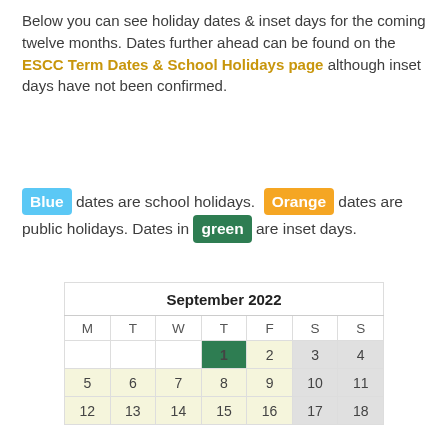Below you can see holiday dates & inset days for the coming twelve months. Dates further ahead can be found on the ESCC Term Dates & School Holidays page although inset days have not been confirmed.
Blue dates are school holidays. Orange dates are public holidays. Dates in green are inset days.
| September 2022 |  |  |  |  |  |  |
| --- | --- | --- | --- | --- | --- | --- |
| M | T | W | T | F | S | S |
|  |  |  | 1 | 2 | 3 | 4 |
| 5 | 6 | 7 | 8 | 9 | 10 | 11 |
| 12 | 13 | 14 | 15 | 16 | 17 | 18 |